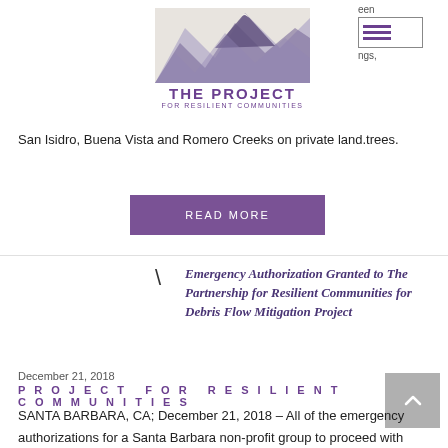[Figure (logo): The Project for Resilient Communities logo with mountain illustration and text]
San Isidro, Buena Vista and Romero Creeks on private land.trees.
READ MORE
Emergency Authorization Granted to The Partnership for Resilient Communities for Debris Flow Mitigation Project
December 21, 2018
PROJECT FOR RESILIENT COMMUNITIES
SANTA BARBARA, CA; December 21, 2018 – All of the emergency authorizations for a Santa Barbara non-profit group to proceed with constructing 11 debris flow protection nets in the canyons above